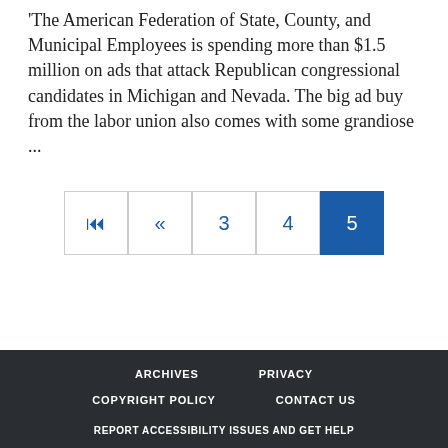'The American Federation of State, County, and Municipal Employees is spending more than $1.5 million on ads that attack Republican congressional candidates in Michigan and Nevada. The big ad buy from the labor union also comes with some grandiose ...
Pagination: |< « 3 4 5
ARCHIVES  PRIVACY  COPYRIGHT POLICY  CONTACT US  REPORT ACCESSIBILITY ISSUES AND GET HELP